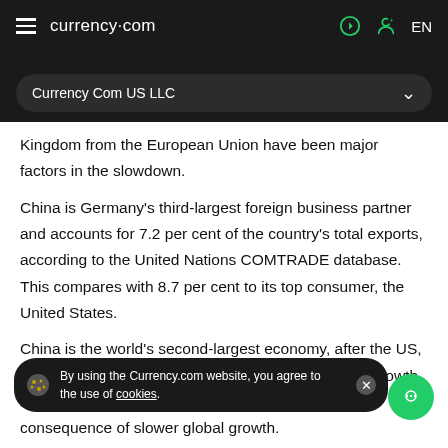currency.com  EN
Currency Com US LLC
Kingdom from the European Union have been major factors in the slowdown.
China is Germany's third-largest foreign business partner and accounts for 7.2 per cent of the country's total exports, according to the United Nations COMTRADE database. This compares with 8.7 per cent to its top consumer, the United States.
China is the world's second-largest economy, after the US, and this year looks set to clock its weakest pace of growth since the 1990s, as a result of the trade war but also a consequence of slower global growth.
By using the Currency.com website, you agree to the use of cookies.